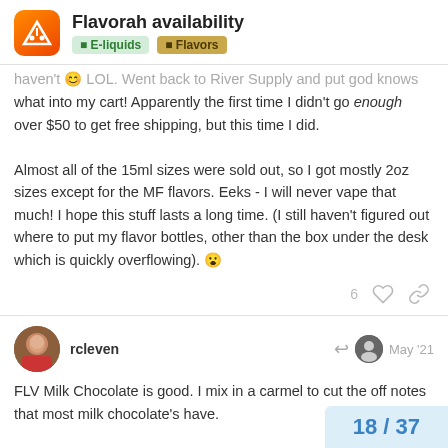Flavorah availability | E-liquids | Flavors
haven't 😊 LOL. Went back to River Supply and put god knows what into my cart! Apparently the first time I didn't go enough over $50 to get free shipping, but this time I did.
Almost all of the 15ml sizes were sold out, so I got mostly 2oz sizes except for the MF flavors. Eeks - I will never vape that much! I hope this stuff lasts a long time. (I still haven't figured out where to put my flavor bottles, other than the box under the desk which is quickly overflowing). 😮
rcleven May '21
FLV Milk Chocolate is good. I mix in a carmel to cut the off notes that most milk chocolate's have.
18 / 37